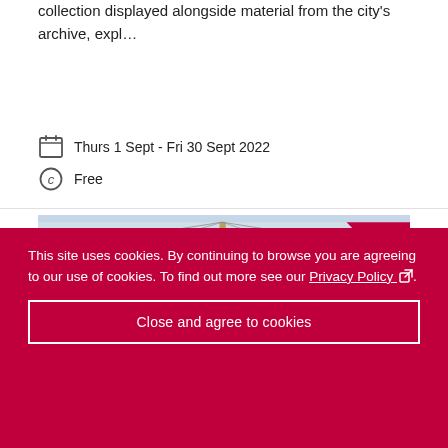collection displayed alongside material from the city's archive, expl…
Thurs 1 Sept - Fri 30 Sept 2022
Free
[Figure (photo): Tall ship masts with rigging against a hazy sky, with a pink 'FREE' ribbon badge in the top-right corner]
This site uses cookies. By continuing to browse you are agreeing to our use of cookies. To find out more see our Privacy Policy.
Close and agree to cookies